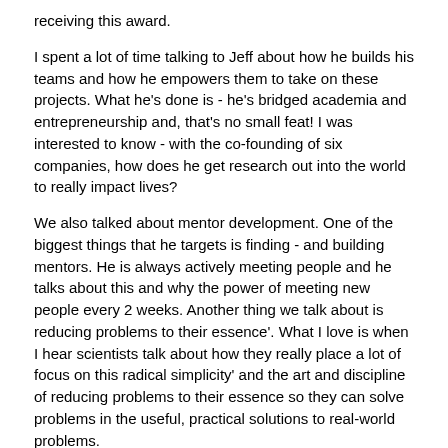receiving this award.
I spent a lot of time talking to Jeff about how he builds his teams and how he empowers them to take on these projects. What he's done is - he's bridged academia and entrepreneurship and, that's no small feat! I was interested to know - with the co-founding of six companies, how does he get research out into the world to really impact lives?
We also talked about mentor development. One of the biggest things that he targets is finding - and building mentors. He is always actively meeting people and he talks about this and why the power of meeting new people every 2 weeks. Another thing we talk about is reducing problems to their essence'. What I love is when I hear scientists talk about how they really place a lot of focus on this radical simplicity' and the art and discipline of reducing problems to their essence so they can solve problems in the useful, practical solutions to real-world problems.
This is a really, really fun interview with a world-impact leader in medicine. And bringing cutting edge therapies to market with a team. A team of people really dedicated to changing the world.
So, with this, I want to welcome you to my great conversation with Dr. Jeff Karp.
Here are some Key Concepts from the Podcast: